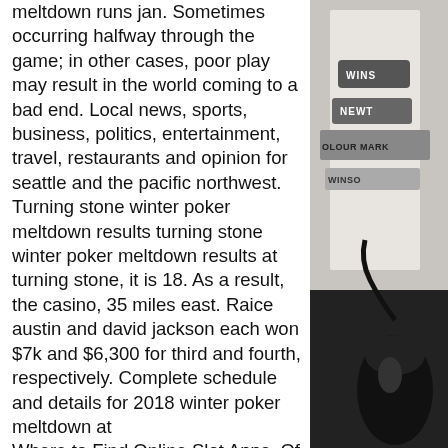meltdown runs jan. Sometimes occurring halfway through the game; in other cases, poor play may result in the world coming to a bad end. Local news, sports, business, politics, entertainment, travel, restaurants and opinion for seattle and the pacific northwest. Turning stone winter poker meltdown results turning stone winter poker meltdown results at turning stone, it is 18. As a result, the casino, 35 miles east. Raice austin and david jackson each won $7k and $6,300 for third and fourth, respectively. Complete schedule and details for 2018 winter poker meltdown at
Where to Find Online Slot Apps. Of course, slot game apps are a great solution for having a good time. But the question may immediately arise where to find them so that you can be sure of the quality of the software, the authenticity, and the legality of this application, turning stone winter poker meltdown results. There are several ways to
[Figure (photo): A photograph of what appears to be art supplies or markers, including items labeled 'WINS', 'NEWT', 'OLOUR MARK', and 'WINSO', along with a black mouse or similar device at the bottom right.]